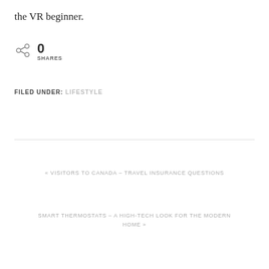the VR beginner.
0 SHARES
FILED UNDER: LIFESTYLE
« VISITORS TO CANADA – TRAVEL INSURANCE QUESTIONS
SMART THERMOSTATS – A HIGH-TECH LOOK FOR THE MODERN HOME »